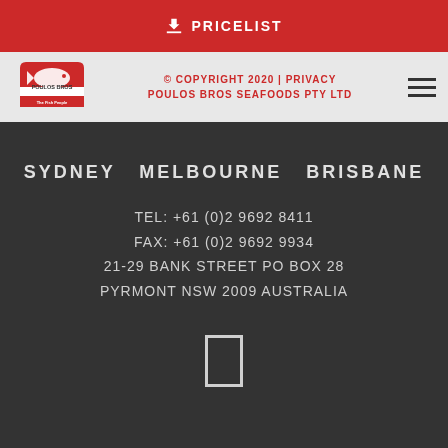PRICELIST
[Figure (logo): Poulos Bros Seafoods logo with fish graphic and red/white design]
© COPYRIGHT 2020 | PRIVACY POULOS BROS SEAFOODS PTY LTD
SYDNEY  MELBOURNE  BRISBANE
TEL: +61 (0)2 9692 8411
FAX: +61 (0)2 9692 9934
21-29 BANK STREET PO BOX 28
PYRMONT NSW 2009 AUSTRALIA